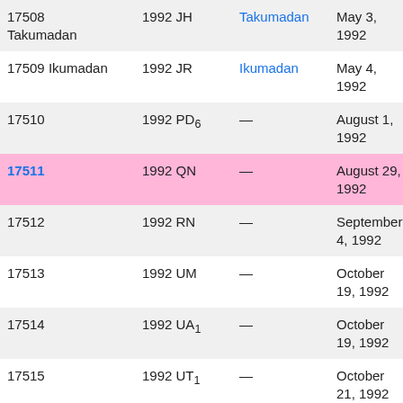| Minor planet | Provisional designation | Named after | Discovery date | Discoverer |
| --- | --- | --- | --- | --- |
| 17508 Takumadan | 1992 JH | Takumadan | May 3, 1992 | Ge |
| 17509 Ikumadan | 1992 JR | Ikumadan | May 4, 1992 | Ge |
| 17510 | 1992 PD₆ | — | August 1, 1992 | La |
| 17511 | 1992 QN | — | August 29, 1992 | Pa |
| 17512 | 1992 RN | — | September 4, 1992 | Kiy |
| 17513 | 1992 UM | — | October 19, 1992 | Ku |
| 17514 | 1992 UA₁ | — | October 19, 1992 | Ku |
| 17515 | 1992 UT₁ | — | October 21, 1992 | Dy |
| 17516 Kogayukihito | 1992 UZ₆ | Kogayukihito | October 28, 1992 | Kit |
| 17517 | 1992 WZ₃ | — | November 21, 1992 | Ku |
| 17518 Redqueen | 1992 YD | Redqueen | December 18, 1992 | Ya |
| 17519 Pritsak | 1992 YF | Pritsak | December | Gr |